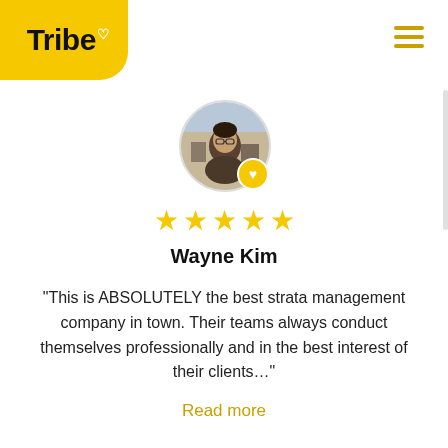[Figure (logo): Tribe logo on yellow badge: bold text 'Tribe' with a small white heart superscript]
[Figure (illustration): Hamburger menu icon (three horizontal yellow lines) in top right corner]
[Figure (photo): Circular profile photo of Wayne Kim with a yellow heart badge in bottom-right of circle]
[Figure (infographic): Five yellow star rating icons]
Wayne Kim
“This is ABSOLUTELY the best strata management company in town. Their teams always conduct themselves professionally and in the best interest of their clients…”
Read more